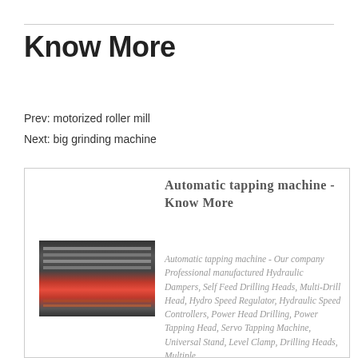Know More
Prev: motorized roller mill
Next: big grinding machine
Automatic tapping machine - Know More
[Figure (photo): Photograph of an automatic tapping machine showing industrial rollers and machinery with red and dark metal components]
Automatic tapping machine - Our company Professional manufactured Hydraulic Dampers, Self Feed Drilling Heads, Multi-Drill Head, Hydro Speed Regulator, Hydraulic Speed Controllers, Power Head Drilling, Power Tapping Head, Servo Tapping Machine, Universal Stand, Level Clamp, Drilling Heads, Multiple drilling...